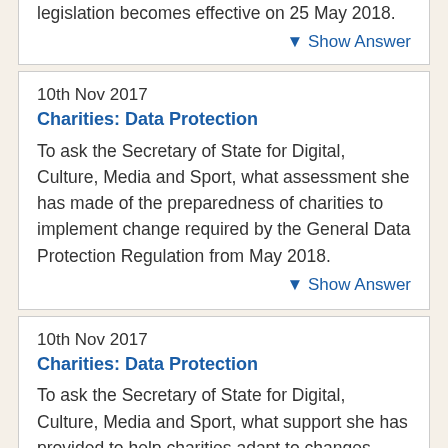legislation becomes effective on 25 May 2018.
▼ Show Answer
10th Nov 2017
Charities: Data Protection
To ask the Secretary of State for Digital, Culture, Media and Sport, what assessment she has made of the preparedness of charities to implement change required by the General Data Protection Regulation from May 2018.
▼ Show Answer
10th Nov 2017
Charities: Data Protection
To ask the Secretary of State for Digital, Culture, Media and Sport, what support she has provided to help charities adapt to changes introduced by the General Data Protection Regulation from May 2018.
▼ Show Answer